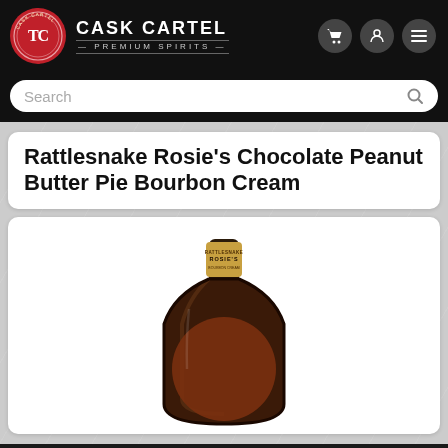[Figure (logo): Cask Cartel Premium Spirits logo with red wax seal and brand name]
[Figure (screenshot): Search bar with placeholder text 'Search' and magnifying glass icon]
Rattlesnake Rosie's Chocolate Peanut Butter Pie Bourbon Cream
[Figure (photo): Bottle of Rattlesnake Rosie's Chocolate Peanut Butter Pie Bourbon Cream - dark amber rounded bottle with gold label on neck]